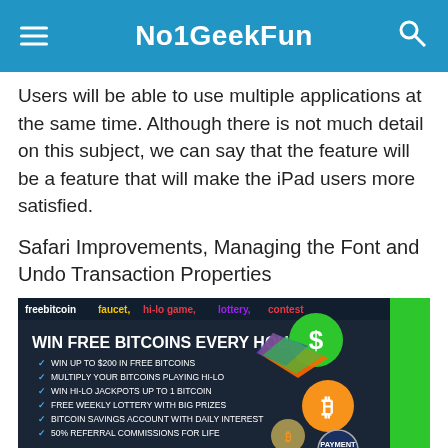No1GeekFun
Users will be able to use multiple applications at the same time. Although there is not much detail on this subject, we can say that the feature will be a feature that will make the iPad users more satisfied.
Safari Improvements, Managing the Font and Undo Transaction Properties
[Figure (infographic): Freebitcoin promotional banner: 'freebitcoin faucet, hi-lo game, lottery, contest' at top. 'WIN FREE BITCOINS EVERY HOUR!' with bullet points and 'FULL TUTORIAL WITH VIDEO' at bottom. Green 'MAKE MONEY' text on right side.]
As it is known, the iPhone users can use the undo